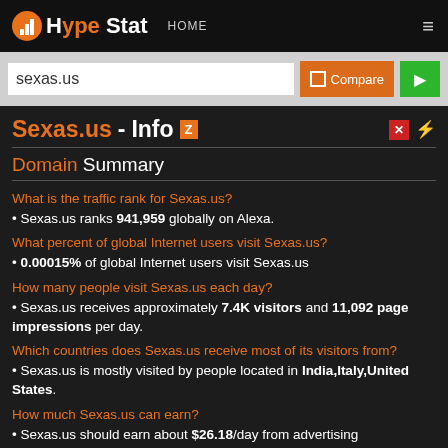HypeStat HOME
sexas.us
Sexas.us - Info
Domain Summary
What is the traffic rank for Sexas.us?
• Sexas.us ranks 941,959 globally on Alexa.
What percent of global Internet users visit Sexas.us?
• 0.00015% of global Internet users visit Sexas.us
How many people visit Sexas.us each day?
• Sexas.us receives approximately 7.4K visitors and 11,092 page impressions per day.
Which countries does Sexas.us receive most of its visitors from?
• Sexas.us is mostly visited by people located in India,Italy,United States.
How much Sexas.us can earn?
• Sexas.us should earn about $26.18/day from advertising